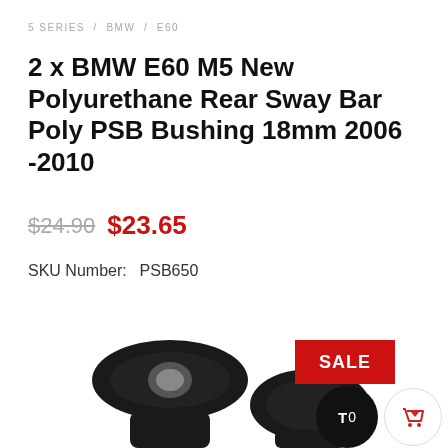5 SERIES / BMW / E60
2 x BMW E60 M5 New Polyurethane Rear Sway Bar Poly PSB Bushing 18mm 2006 -2010
$24.90  $23.65
SKU Number:  PSB650
[Figure (photo): Two black polyurethane sway bar bushings with metal inner sleeves, shot close-up from below against a white background. A red SALE badge is overlaid on the image, and a circular cart button and dark circle badge with 'T 0' are visible in the bottom right corner.]